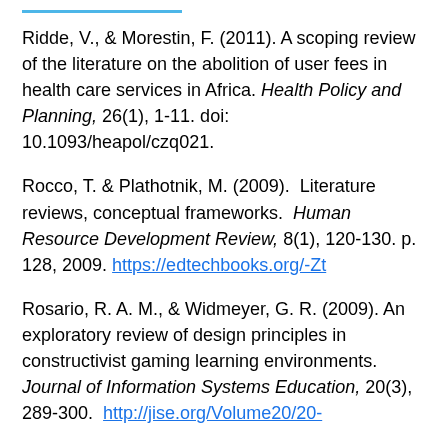Ridde, V., & Morestin, F. (2011). A scoping review of the literature on the abolition of user fees in health care services in Africa. Health Policy and Planning, 26(1), 1-11. doi: 10.1093/heapol/czq021.
Rocco, T. & Plathotnik, M. (2009).  Literature reviews, conceptual frameworks.  Human Resource Development Review, 8(1), 120-130. p. 128, 2009. https://edtechbooks.org/-Zt
Rosario, R. A. M., & Widmeyer, G. R. (2009). An exploratory review of design principles in constructivist gaming learning environments. Journal of Information Systems Education, 20(3), 289-300.  http://jise.org/Volume20/20-